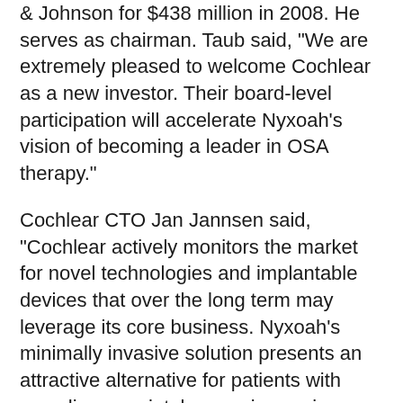& Johnson for $438 million in 2008. He serves as chairman. Taub said, "We are extremely pleased to welcome Cochlear as a new investor. Their board-level participation will accelerate Nyxoah's vision of becoming a leader in OSA therapy."
Cochlear CTO Jan Jannsen said, "Cochlear actively monitors the market for novel technologies and implantable devices that over the long term may leverage its core business. Nyxoah's minimally invasive solution presents an attractive alternative for patients with compliance or intolerance issues in respect of existing therapies. We look forward to working with Nyxoah."
Nyxoah recently completed the BLAST-OSA (BiLAteral Hypoglossal Nerve Stimulation for Treatment of Obstructive Sleep Apnea) clinical study, an essential milestone for its CE marking decision already submitted...